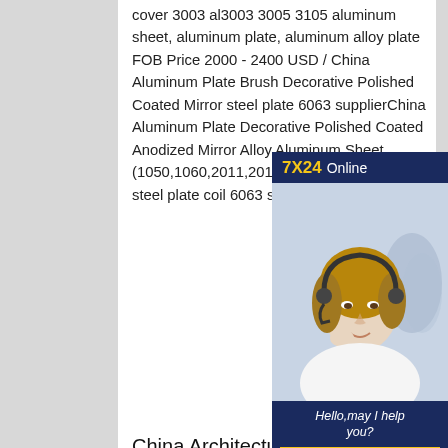cover 3003 al3003 3005 3105 aluminum sheet, aluminum plate, aluminum alloy plate FOB Price 2000 - 2400 USD / China Aluminum Plate Brush Decorative Polished Coated Mirror steel plate 6063 supplierChina Aluminum Plate Decorative Polished Coated Anodized Mirror Alloy Aluminum Sheet (1050,1060,2011,2014,2024,3003 Mirror steel plate coil 6063 supplier
[Figure (photo): Customer service representative wearing headset with '7X24 Online' header and 'Hello, may I help you?' and 'Get Latest Price' button on dark blue background]
China Architectural Appearance, Decoration Mirror steel plate coil 6063 supplier
Is a professional research and development, production, sales mirror aluminum plate and aluminum foil, colored aluminum plate, polished aluminum